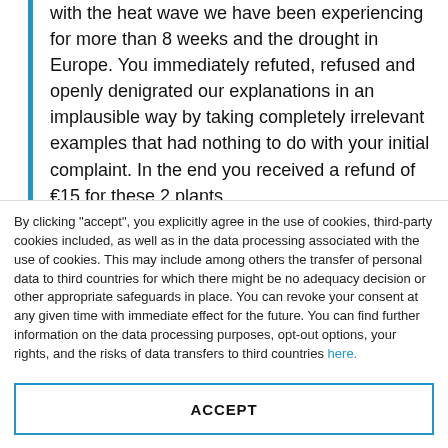with the heat wave we have been experiencing for more than 8 weeks and the drought in Europe. You immediately refuted, refused and openly denigrated our explanations in an implausible way by taking completely irrelevant examples that had nothing to do with your initial complaint. In the end you received a refund of €15 for these 2 plants.
Our company is based in the Netherlands and the
By clicking "accept", you explicitly agree in the use of cookies, third-party cookies included, as well as in the data processing associated with the use of cookies. This may include among others the transfer of personal data to third countries for which there might be no adequacy decision or other appropriate safeguards in place. You can revoke your consent at any given time with immediate effect for the future. You can find further information on the data processing purposes, opt-out options, your rights, and the risks of data transfers to third countries here.
ACCEPT